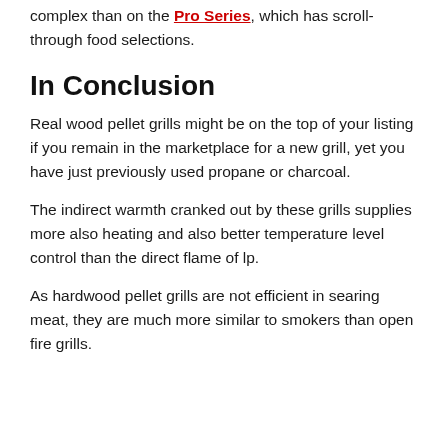complex than on the Pro Series, which has scroll-through food selections.
In Conclusion
Real wood pellet grills might be on the top of your listing if you remain in the marketplace for a new grill, yet you have just previously used propane or charcoal.
The indirect warmth cranked out by these grills supplies more also heating and also better temperature level control than the direct flame of lp.
As hardwood pellet grills are not efficient in searing meat, they are much more similar to smokers than open fire grills.